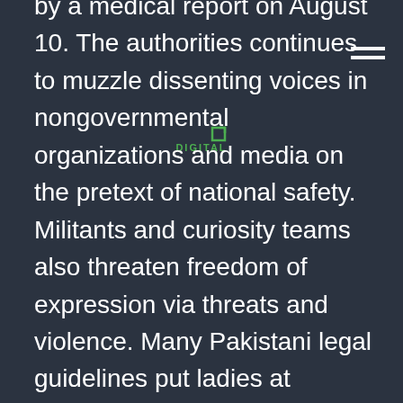by a medical report on August 10. The authorities continues to muzzle dissenting voices in nongovernmental organizations and media on the pretext of national safety. Militants and curiosity teams also threaten freedom of expression via threats and violence. Many Pakistani legal guidelines put ladies at drawback, but they do not depart girls entirely with out rights.

Many families favor sons, not least because they will eventually take care of their aged dad and mom, whereas daughters would require a dowry when becoming a member of another